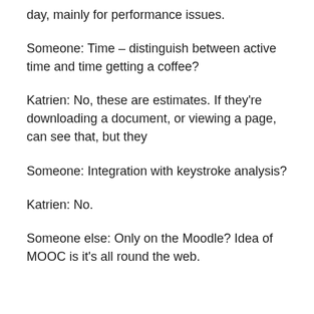day, mainly for performance issues.
Someone: Time – distinguish between active time and time getting a coffee?
Katrien: No, these are estimates. If they're downloading a document, or viewing a page, can see that, but they
Someone: Integration with keystroke analysis?
Katrien: No.
Someone else: Only on the Moodle? Idea of MOOC is it's all round the web.